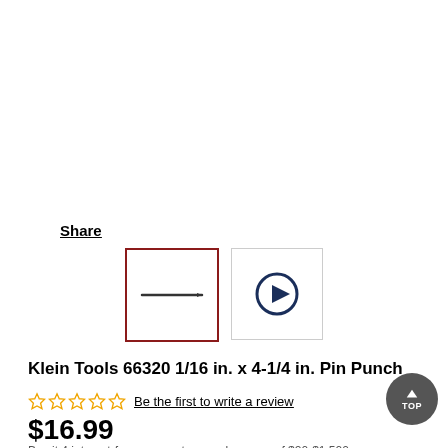Share
[Figure (screenshot): Two product image thumbnails: first is selected with dark red border showing a pin punch tool, second shows a video play button icon]
Klein Tools 66320 1/16 in. x 4-1/4 in. Pin Punch
Be the first to write a review
$16.99
Buy it 4 interest-free payments on orders over of $20-$1,500...